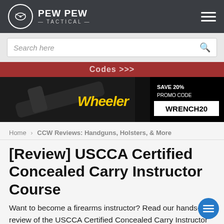PEW PEW TACTICAL
[Figure (screenshot): Search bar with placeholder text 'Search here' and search icon]
Codes >>>
[Figure (photo): Wheeler tools advertisement banner — wrench/tool on dark background with text: SAVE 20% PROMO CODE WRENCH20 and Wheeler logo in yellow]
Home › CCW Reviews: Handguns, Holsters, & More
[Review] USCCA Certified Concealed Carry Instructor Course
Want to become a firearms instructor? Read our hands-on review of the USCCA Certified Concealed Carry Instructor